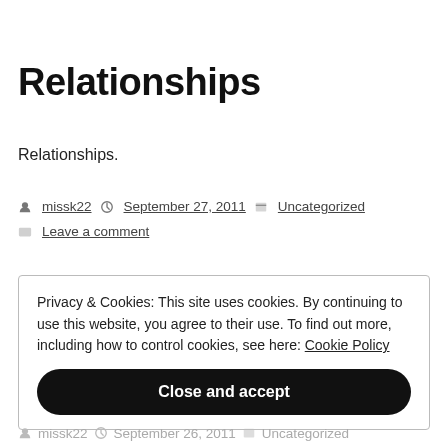Relationships
Relationships.
By missk22  September 27, 2011  Uncategorized  Leave a comment
Privacy & Cookies: This site uses cookies. By continuing to use this website, you agree to their use. To find out more, including how to control cookies, see here: Cookie Policy
Close and accept
missk22  September 26, 2011  Uncategorized